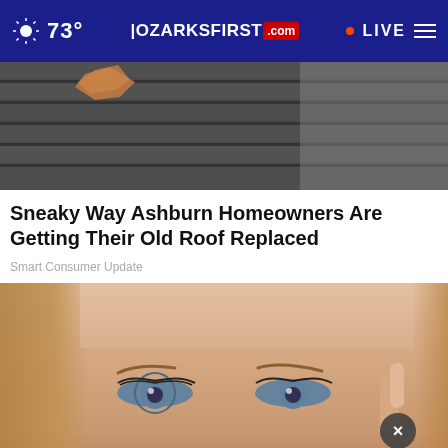73° OZARKSFIRST.com LIVE
[Figure (photo): Close-up photo of damaged roof shingles with exposed underlayment visible]
Sneaky Way Ashburn Homeowners Are Getting Their Old Roof Replaced
Smart Consumer Update
[Figure (photo): Close-up photo of a woman's eyes and forehead, with her finger touching near her eye]
[Figure (other): Advertisement banner for Garden of Eden lingerie store with silhouette, lips logo, and text: IN THE Garden of Eden YOUR LINGERIE HQ]